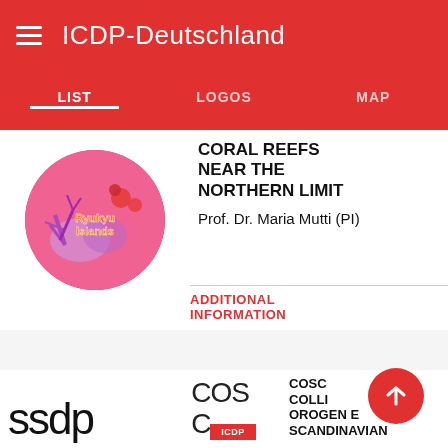ICDP-Deutschland
LIST | LOGOS | MAP
[Figure (illustration): Circular logo showing coral reef imagery with text 'Ryukyu Islands' on pink/magenta background]
CORAL REEFS NEAR THE NORTHERN LIMIT
Prof. Dr. Maria Mutti (PI)
ADDITIONAL INFORMATION
[Figure (logo): SSDP logo in large black sans-serif text]
COS C
COSC COLLISION OROGENY IN THE SCANDINAVIAN